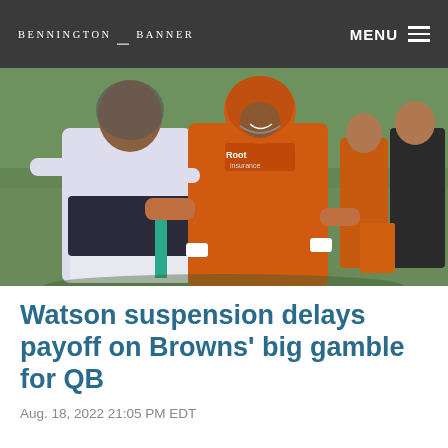BENNINGTON BANNER
[Figure (photo): Two football players hugging on the field during training camp. One in a white jersey (facing away) and one in an orange Cleveland Browns jersey with a 'Root' logo patch on the shoulder, smiling.]
Watson suspension delays payoff on Browns' big gamble for QB
Aug. 18, 2022 21:05 PM EDT